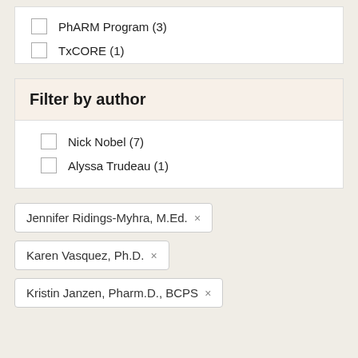PhARM Program (3)
TxCORE (1)
Filter by author
Nick Nobel (7)
Alyssa Trudeau (1)
Jennifer Ridings-Myhra, M.Ed. ×
Karen Vasquez, Ph.D. ×
Kristin Janzen, Pharm.D., BCPS ×